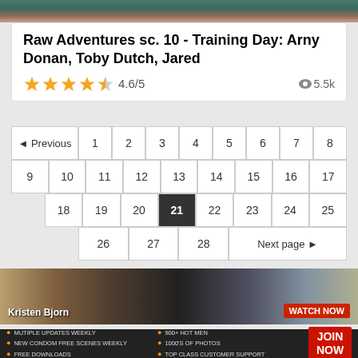[Figure (photo): Top banner image strip showing people]
Raw Adventures sc. 10 - Training Day: Arny Donan, Toby Dutch, Jared
4.6/5  👁5.5k
◄ Previous 1 2 3 4 5 6 7 8 9 10 11 12 13 14 15 16 17 18 19 20 21 22 23 24 25 26 27 28 Next page ►
[Figure (photo): Banner advertisement for Kristen Bjorn with WATCH NOW button]
• MUTIPLE UPDATES WEEKLY • NEW CONDOM FREE SCENES WEEKLY • FREE DOWNLOADS • 900+ HOT MEN • 1000'S OF PHOTOS • TOP CLASS CUSTOMER SUPPORT JOIN NOW